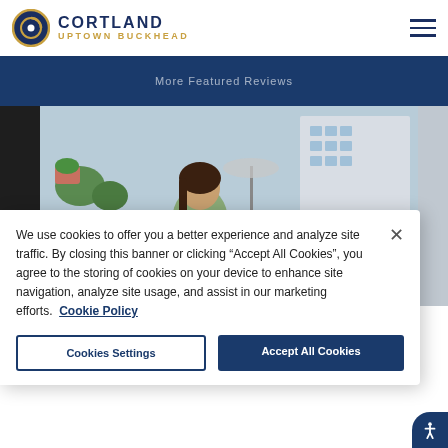CORTLAND UPTOWN BUCKHEAD
More Featured Reviews
[Figure (photo): Woman sitting outdoors on a lounge chair with blue pillows beside a pool, using a laptop, with apartment buildings in the background. Dark panel on the left, partial building view on the right.]
We use cookies to offer you a better experience and analyze site traffic. By closing this banner or clicking “Accept All Cookies”, you agree to the storing of cookies on your device to enhance site navigation, analyze site usage, and assist in our marketing efforts. Cookie Policy
Cookies Settings
Accept All Cookies